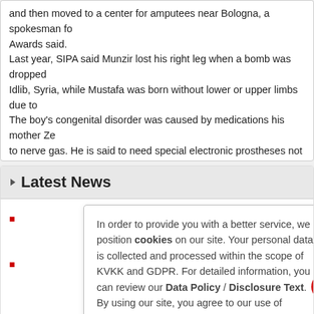and then moved to a center for amputees near Bologna, a spokesman for the Awards said.
Last year, SIPA said Munzir lost his right leg when a bomb was dropped on Idlib, Syria, while Mustafa was born without lower or upper limbs due to The boy's congenital disorder was caused by medications his mother Ze to nerve gas. He is said to need special electronic prostheses not availa until now.
Zeynep and Mustafa's two younger sisters are also coming to Italy, SIPA organized following an online fundraising appeal initiated by SIPA that ra
Latest News
In order to provide you with a better service, we position cookies on our site. Your personal data is collected and processed within the scope of KVKK and GDPR. For detailed information, you can review our Data Policy / Disclosure Text. By using our site, you agree to our use of cookies.
Ukrainian Children On Rehab Taught Turkish In Izmir After B
Turkish education to 20 children aged 5 to 9 are provided so that the